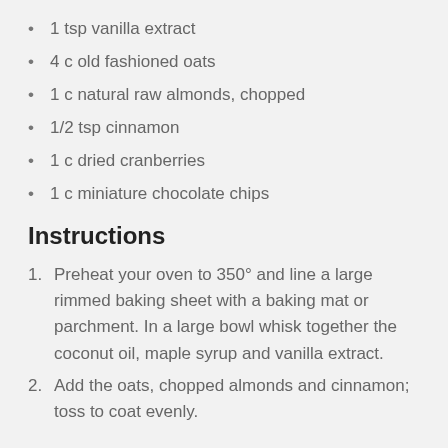1 tsp vanilla extract
4 c old fashioned oats
1 c natural raw almonds, chopped
1/2 tsp cinnamon
1 c dried cranberries
1 c miniature chocolate chips
Instructions
Preheat your oven to 350° and line a large rimmed baking sheet with a baking mat or parchment. In a large bowl whisk together the coconut oil, maple syrup and vanilla extract.
Add the oats, chopped almonds and cinnamon; toss to coat evenly.